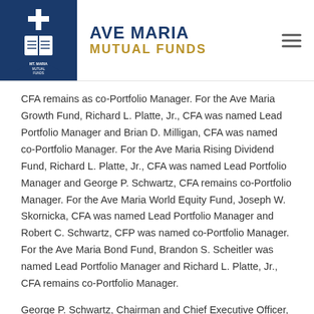[Figure (logo): Ave Maria Mutual Funds logo: navy blue bookmark/shield shape with a cross and open book icon, beside bold navy text 'AVE MARIA' and gold text 'MUTUAL FUNDS']
CFA remains as co-Portfolio Manager. For the Ave Maria Growth Fund, Richard L. Platte, Jr., CFA was named Lead Portfolio Manager and Brian D. Milligan, CFA was named co-Portfolio Manager. For the Ave Maria Rising Dividend Fund, Richard L. Platte, Jr., CFA was named Lead Portfolio Manager and George P. Schwartz, CFA remains co-Portfolio Manager. For the Ave Maria World Equity Fund, Joseph W. Skornicka, CFA was named Lead Portfolio Manager and Robert C. Schwartz, CFP was named co-Portfolio Manager. For the Ave Maria Bond Fund, Brandon S. Scheitler was named Lead Portfolio Manager and Richard L. Platte, Jr., CFA remains co-Portfolio Manager.
George P. Schwartz, Chairman and Chief Executive Officer, struck an optimistic tone in remarking, “these